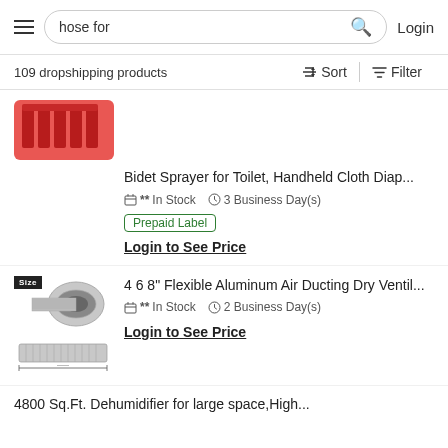hose for [search bar] Login
109 dropshipping products
[Figure (screenshot): Partial product image showing red tool kit tray at top]
Bidet Sprayer for Toilet, Handheld Cloth Diap...
** In Stock   3 Business Day(s)
Prepaid Label
Login to See Price
[Figure (photo): Flexible aluminum air ducting duct hose product images with Size badge]
4 6 8" Flexible Aluminum Air Ducting Dry Ventil...
** In Stock   2 Business Day(s)
Login to See Price
4800 Sq.Ft. Dehumidifier for large space,High...